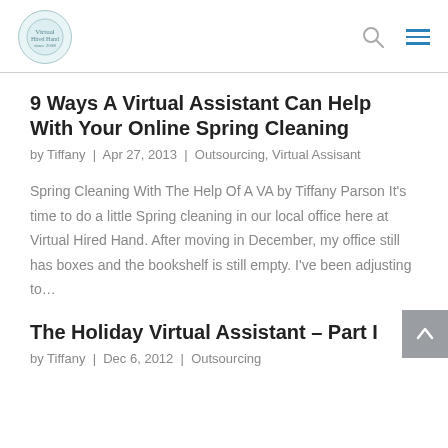[Logo] [Search icon] [Menu icon]
9 Ways A Virtual Assistant Can Help With Your Online Spring Cleaning
by Tiffany | Apr 27, 2013 | Outsourcing, Virtual Assisant
Spring Cleaning With The Help Of A VA by Tiffany Parson It's time to do a little Spring cleaning in our local office here at Virtual Hired Hand. After moving in December, my office still has boxes and the bookshelf is still empty. I've been adjusting to…
The Holiday Virtual Assistant – Part I
by Tiffany | Dec 6, 2012 | Outsourcing